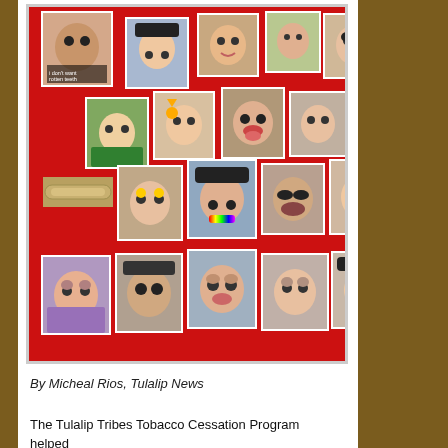[Figure (photo): A red bulletin board with many small printed photos of children and adults with Snapchat-style face filters (dog faces, sunglasses, etc.) pinned to it. One photo has text reading 'I don't want rotten teeth'.]
By Micheal Rios, Tulalip News
The Tulalip Tribes Tobacco Cessation Program helped